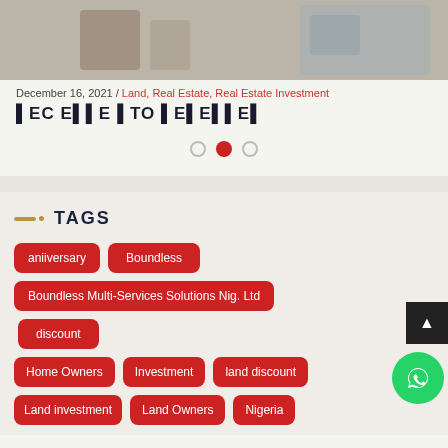[Figure (photo): Blog post header image showing a real estate/land scene]
December 16, 2021 / Land, Real Estate, Real Estate Investment
DECKED TO BELIEVE
[Figure (other): Carousel navigation dots: three circles, middle one active (red)]
TAGS
aniiversary
Boundless
Boundless Multi-Services Solutions Nig. Ltd
discount
Home Owners
Investment
land discount
Land investment
Land Owners
Nigeria